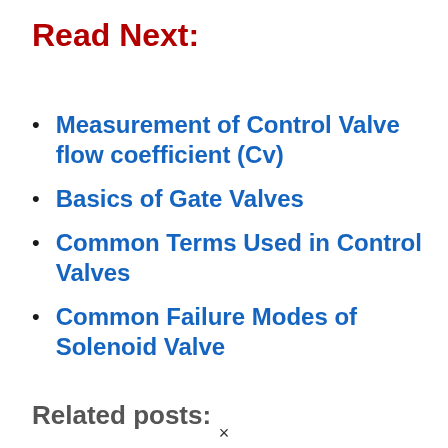Read Next:
Measurement of Control Valve flow coefficient (Cv)
Basics of Gate Valves
Common Terms Used in Control Valves
Common Failure Modes of Solenoid Valve
Related posts: